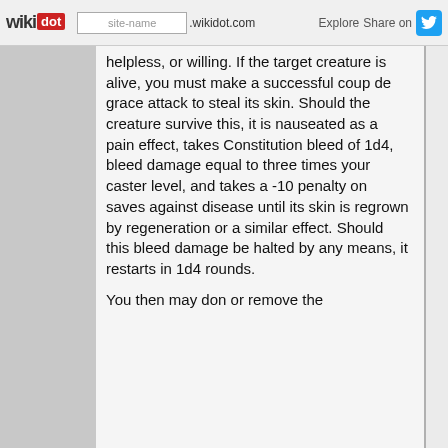wikidot | site-name .wikidot.com | Explore | Share on
helpless, or willing. If the target creature is alive, you must make a successful coup de grace attack to steal its skin. Should the creature survive this, it is nauseated as a pain effect, takes Constitution bleed of 1d4, bleed damage equal to three times your caster level, and takes a -10 penalty on saves against disease until its skin is regrown by regeneration or a similar effect. Should this bleed damage be halted by any means, it restarts in 1d4 rounds.
You then may don or remove the